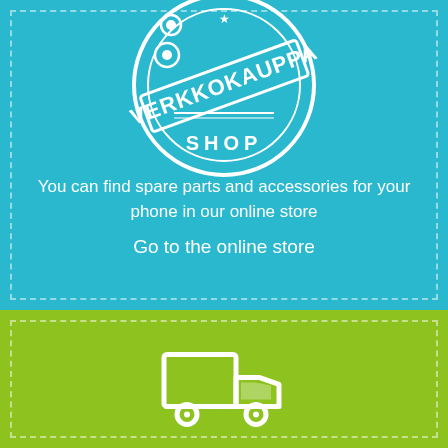[Figure (logo): Round stamp logo with text VERKKOKAUPPA SHOP in white on cyan background]
You can find spare parts and accessories for your phone in our online store
Go to the online store
[Figure (illustration): White delivery truck / shipping truck icon on green background]